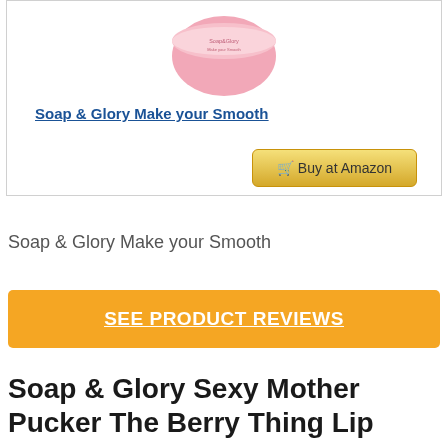[Figure (photo): Product image of Soap & Glory Make your Smooth — a pink rounded jar/container visible at the top of the product card]
Soap & Glory Make your Smooth
🛒 Buy at Amazon
Soap & Glory Make your Smooth
SEE PRODUCT REVIEWS
Soap & Glory Sexy Mother Pucker The Berry Thing Lip